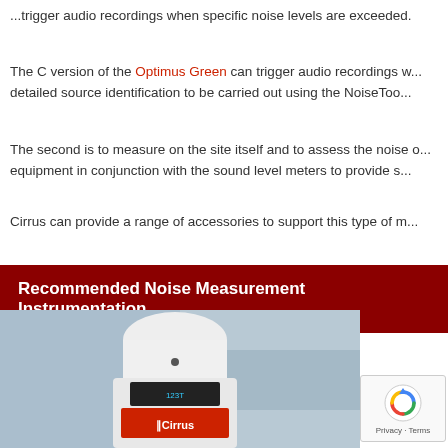versions of the Optimus Green will provide a detailed analysis of trigger audio recordings when specific noise levels are exceeded.
The C version of the Optimus Green can trigger audio recordings w... detailed source identification to be carried out using the NoiseToo...
The second is to measure on the site itself and to assess the noise o... equipment in conjunction with the sound level meters to provide s...
Cirrus can provide a range of accessories to support this type of m...
Recommended Noise Measurement Instrumentation
[Figure (photo): Photo of a Cirrus sound level meter (white device with red label showing Cirrus branding) in a blurred outdoor background. A CAPTCHA widget is overlaid in the bottom right.]